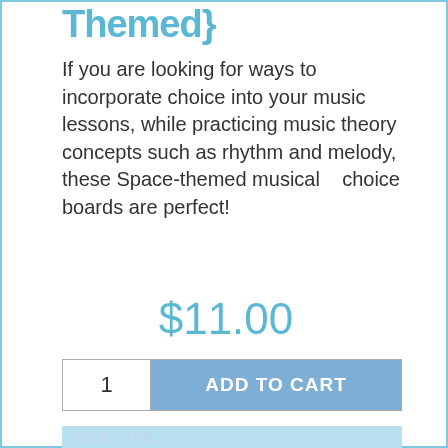Themed}
If you are looking for ways to incorporate choice into your music lessons, while practicing music theory concepts such as rhythm and melody, these Space-themed musical    choice boards are perfect!
$11.00
1   ADD TO CART
FILE TYPE:
GOOGLE DRIVE